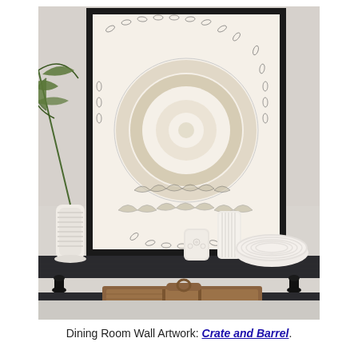[Figure (photo): Interior decor photo showing a dark console table with white ceramic vases and decorative vessels on top, a framed botanical/mandala-style wall art print leaning against the wall behind it, a green palm leaf in a white ribbed vase on the left, and a rustic wooden tray with dividers on the lower shelf of the table. Background wall is light gray/white.]
Dining Room Wall Artwork: Crate and Barrel.